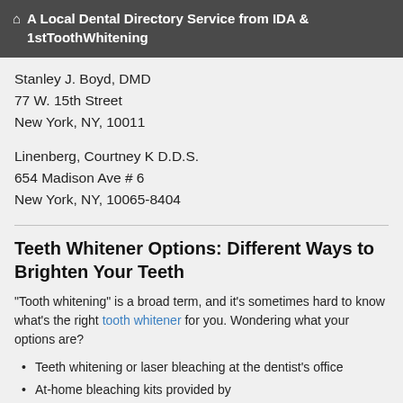A Local Dental Directory Service from IDA & 1stToothWhitening
Stanley J. Boyd, DMD
77 W. 15th Street
New York, NY, 10011
Linenberg, Courtney K D.D.S.
654 Madison Ave # 6
New York, NY, 10065-8404
Teeth Whitener Options: Different Ways to Brighten Your Teeth
"Tooth whitening" is a broad term, and it's sometimes hard to know what's the right tooth whitener for you. Wondering what your options are?
Teeth whitening or laser bleaching at the dentist's office
At-home bleaching kits provided by
… read more
Who Wants Whiter Teeth?